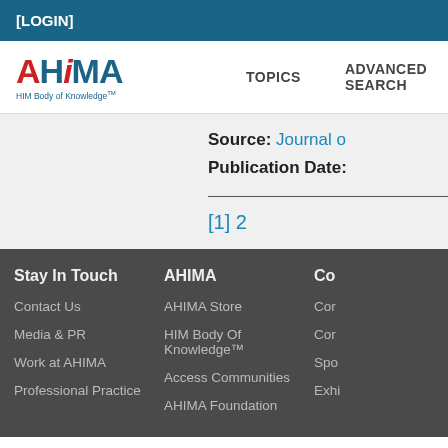[LOGIN]
[Figure (logo): AHIMA HIM Body of Knowledge logo with navigation bar showing TOPICS and ADVANCED SEARCH]
Source: Journal o...
Publication Date:
[1] 2
Stay In Touch | AHIMA | Co... | Contact Us | AHIMA Store | Cor... | Media & PR | HIM Body Of Knowledge™ | Cor... | Work at AHIMA | Access Communities | Spo... | Professional Practice | AHIMA Foundation | Exhi...